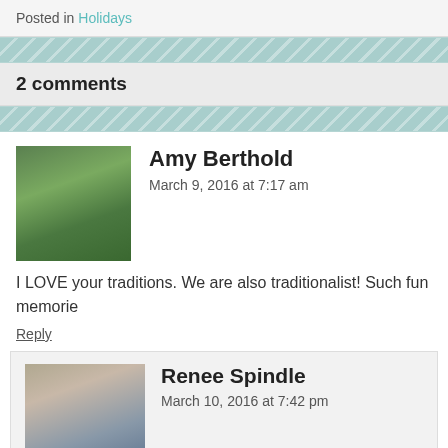Posted in Holidays
2 comments
Amy Berthold
March 9, 2016 at 7:17 am
I LOVE your traditions. We are also traditionalist! Such fun memories
Reply
Renee Spindle
March 10, 2016 at 7:42 pm
So glad you stopped in for a visit Amy.
Reply